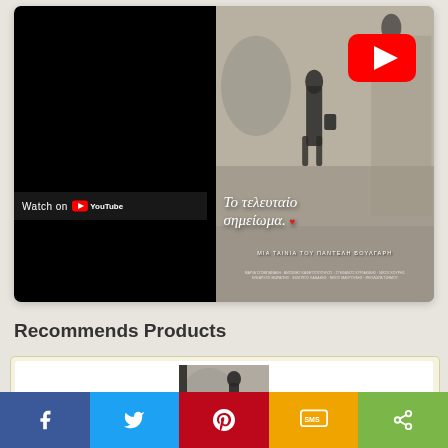[Figure (screenshot): YouTube video embed showing a Greek film 'To teleytaio simeiwma' (The Last Note) by Pantelis Voulgaris. Left half is black (video play area), right half shows a vintage black-and-white movie poster with a woman walking. A red YouTube play button is visible. 'Watch on YouTube' text appears at bottom left. Greek cursive title text appears on the right side.]
Recommends Products
[Figure (photo): DVD product image showing the film 'To teleytaio simeiwma' DVD cover with a figure walking in a black-and-white style.]
[Figure (infographic): Social sharing bar with five buttons: Facebook (blue, f icon), Twitter (light blue, bird icon), Pinterest (red, P icon), SMS (yellow, SMS icon), Share (green, share icon).]